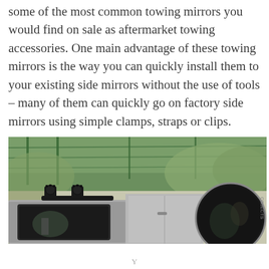some of the most common towing mirrors you would find on sale as aftermarket towing accessories. One main advantage of these towing mirrors is the way you can quickly install them to your existing side mirrors without the use of tools – many of them can quickly go on factory side mirrors using simple clamps, straps or clips.
[Figure (photo): A towing mirror extension clamped onto a vehicle's factory side mirror, with two black adjustment knobs visible at the top. The vehicle and mirror are shown from outside, with green fencing and shrubs in the background. A secondary round mirror is visible on the right.]
Y